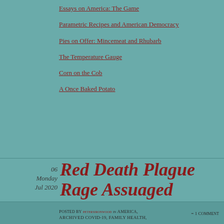Essays on America: The Game
Parametric Recipes and American Democracy
Pies on Offer: Mincemeat and Rhubarb
The Temperature Gauge
Corn on the Cob
A Once Baked Potato
Red Death Plague Rage Assuaged
06 Monday Jul 2020
Posted by petersironwood in America, archived COVID-19, … = 1 Comment